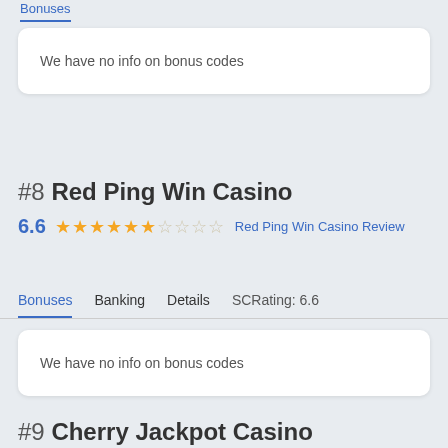Bonuses
We have no info on bonus codes
#8 Red Ping Win Casino
6.6  ★★★★★½☆☆☆☆  Red Ping Win Casino Review
Bonuses  Banking  Details  SCRating: 6.6
We have no info on bonus codes
#9 Cherry Jackpot Casino